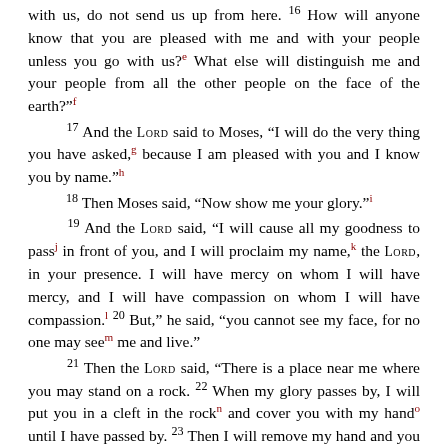with us, do not send us up from here. 16 How will anyone know that you are pleased with me and with your people unless you go with us?e What else will distinguish me and your people from all the other people on the face of the earth?"f
17 And the LORD said to Moses, "I will do the very thing you have asked,g because I am pleased with you and I know you by name."h
18 Then Moses said, "Now show me your glory."i
19 And the LORD said, "I will cause all my goodness to passj in front of you, and I will proclaim my name,k the LORD, in your presence. I will have mercy on whom I will have mercy, and I will have compassion on whom I will have compassion.l 20 But," he said, "you cannot see my face, for no one may seem me and live."
21 Then the LORD said, "There is a place near me where you may stand on a rock. 22 When my glory passes by, I will put you in a cleft in the rockn and cover you with my hando until I have passed by. 23 Then I will remove my hand and you will see my back; but my face must not be seen."